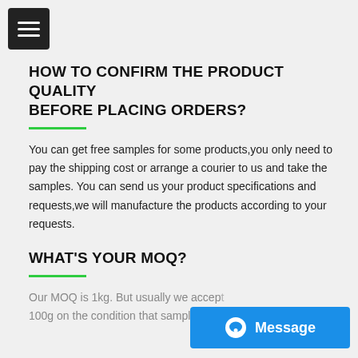[Figure (other): Hamburger menu icon — three horizontal white lines on dark square background]
HOW TO CONFIRM THE PRODUCT QUALITY BEFORE PLACING ORDERS?
You can get free samples for some products,you only need to pay the shipping cost or arrange a courier to us and take the samples. You can send us your product specifications and requests,we will manufacture the products according to your requests.
WHAT'S YOUR MOQ?
Our MOQ is 1kg. But usually we accep... 100g on the condition that sample cha...
[Figure (other): Blue chat/message button with chat bubble icon and 'Message' label]